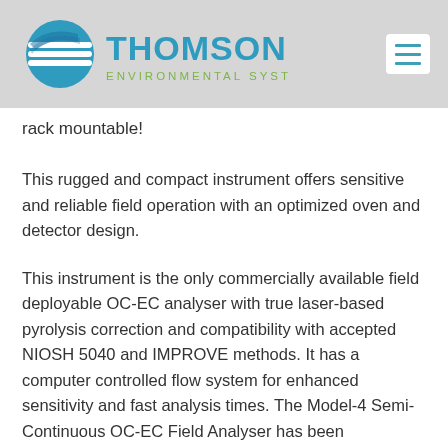Thomson Environmental Systems
rack mountable!
This rugged and compact instrument offers sensitive and reliable field operation with an optimized oven and detector design.
This instrument is the only commercially available field deployable OC-EC analyser with true laser-based pyrolysis correction and compatibility with accepted NIOSH 5040 and IMPROVE methods. It has a computer controlled flow system for enhanced sensitivity and fast analysis times. The Model-4 Semi-Continuous OC-EC Field Analyser has been extensively tested at several EPA super-sites and demonstrated excellent sensitivity, compared with other co-located integrated filter sampling systems.